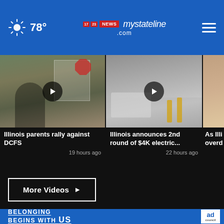78° mystateline.com
[Figure (screenshot): Video thumbnail: Illinois parents rally against DCFS protest scene, play button overlay]
Illinois parents rally against DCFS
19 hours ago
[Figure (screenshot): Video thumbnail: Vehicle/industrial scene, play button overlay]
Illinois announces 2nd round of $4K electric...
22 hours ago
[Figure (screenshot): Partial video thumbnail: As Illi... overd...]
More Videos ▶
[Figure (screenshot): Ad: No One - Dollar General Literacy Foundation, AdCouncil. Belonging Begins With US.]
BELONGING BEGINS WITH US